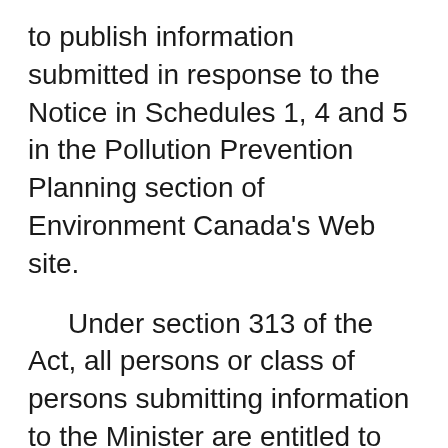to publish information submitted in response to the Notice in Schedules 1, 4 and 5 in the Pollution Prevention Planning section of Environment Canada's Web site.
Under section 313 of the Act, all persons or class of persons submitting information to the Minister are entitled to submit a written request that specific information be treated as confidential. Persons or class of persons submitting such a request should also include the reasons for that request.
The Notice includes the following forms:
Schedule 1: Declaration That a Pollution